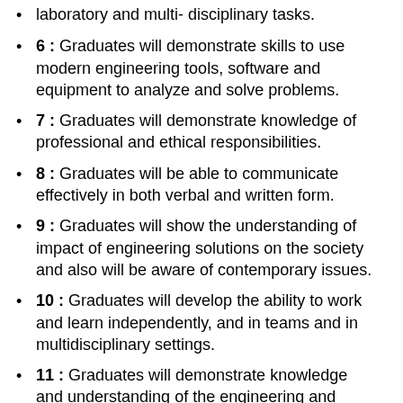laboratory and multi- disciplinary tasks.
6 : Graduates will demonstrate skills to use modern engineering tools, software and equipment to analyze and solve problems.
7 : Graduates will demonstrate knowledge of professional and ethical responsibilities.
8 : Graduates will be able to communicate effectively in both verbal and written form.
9 : Graduates will show the understanding of impact of engineering solutions on the society and also will be aware of contemporary issues.
10 : Graduates will develop the ability to work and learn independently, and in teams and in multidisciplinary settings.
11 : Graduates will demonstrate knowledge and understanding of the engineering and management principles and finance and apply these to manage